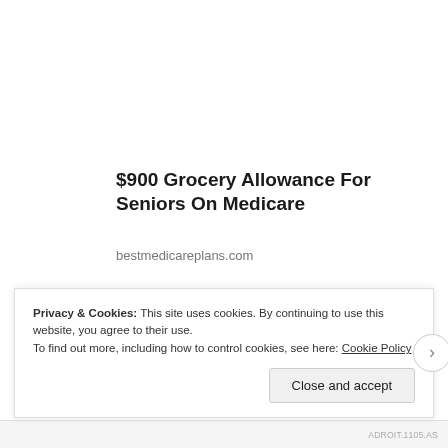$900 Grocery Allowance For Seniors On Medicare
bestmedicareplans.com
[Pics] 3-Foot Wide 'Skinny House' Sells For $260K. Take A Lo...
Privacy & Cookies: This site uses cookies. By continuing to use this website, you agree to their use.
To find out more, including how to control cookies, see here: Cookie Policy
Close and accept